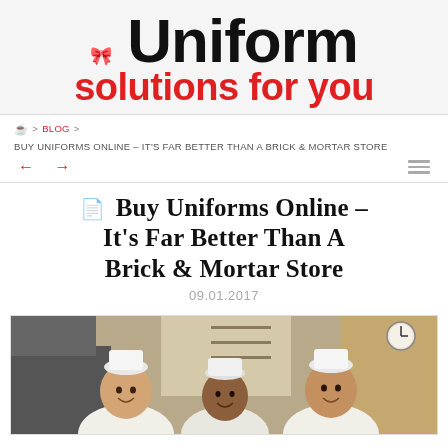[Figure (logo): Uniform Solutions For You logo - black text 'Uniform' with red bow tie icon, red text 'solutions for you' below]
🏠 > BLOG > BUY UNIFORMS ONLINE – IT'S FAR BETTER THAN A BRICK & MORTAR STORE
← →
Buy Uniforms Online – It's Far Better Than A Brick & Mortar Store
09.01.2017
[Figure (photo): Three bakery workers in white chef uniforms and hats smiling at camera in a kitchen/bakery setting]